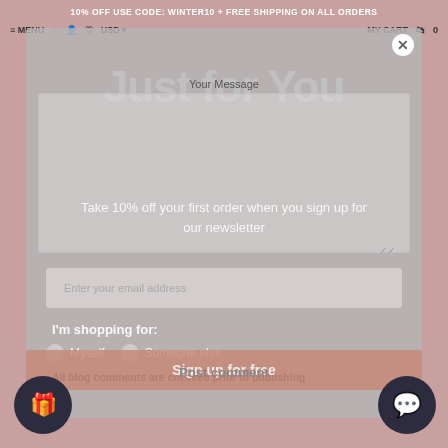10% OFF USE CODE: WINTER10 + FREE SHIPPING ON ALL ORDERS
≡ MENU 🏠 👤 ♡ USD ▾ MY CART 🛍 0
Just for You
Your Message
Take 10% off your first order when you sign up for our newsletter
Enter your email address
I'm shopping for:
○ Myself
○ Someone else
All blog comments are checked prior to publishing
Sign up for free
Post comment